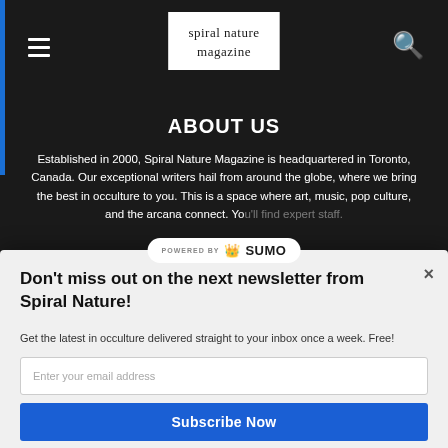spiral nature magazine
ABOUT US
Established in 2000, Spiral Nature Magazine is headquartered in Toronto, Canada. Our exceptional writers hail from around the globe, where we bring the best in occulture to you. This is a space where art, music, pop culture, and the arcana connect. You'll find expert staff.
Don't miss out on the next newsletter from Spiral Nature!
Get the latest in occulture delivered straight to your inbox once a week. Free!
Enter your email address
Subscribe Now